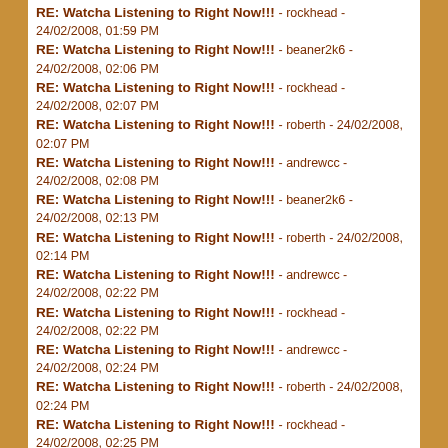RE: Watcha Listening to Right Now!!! - rockhead - 24/02/2008, 01:59 PM
RE: Watcha Listening to Right Now!!! - beaner2k6 - 24/02/2008, 02:06 PM
RE: Watcha Listening to Right Now!!! - rockhead - 24/02/2008, 02:07 PM
RE: Watcha Listening to Right Now!!! - roberth - 24/02/2008, 02:07 PM
RE: Watcha Listening to Right Now!!! - andrewcc - 24/02/2008, 02:08 PM
RE: Watcha Listening to Right Now!!! - beaner2k6 - 24/02/2008, 02:13 PM
RE: Watcha Listening to Right Now!!! - roberth - 24/02/2008, 02:14 PM
RE: Watcha Listening to Right Now!!! - andrewcc - 24/02/2008, 02:22 PM
RE: Watcha Listening to Right Now!!! - rockhead - 24/02/2008, 02:22 PM
RE: Watcha Listening to Right Now!!! - andrewcc - 24/02/2008, 02:24 PM
RE: Watcha Listening to Right Now!!! - roberth - 24/02/2008, 02:24 PM
RE: Watcha Listening to Right Now!!! - rockhead - 24/02/2008, 02:25 PM
RE: Watcha Listening to Right Now!!! - andrewcc - 24/02/2008, 02:30 PM
RE: Watcha Listening to Right Now!!! - rockhead - 24/02/2008, 02:31 PM
RE: Watcha Listening to Right Now!!! - roberth - 24/02/2008, 02:32 PM